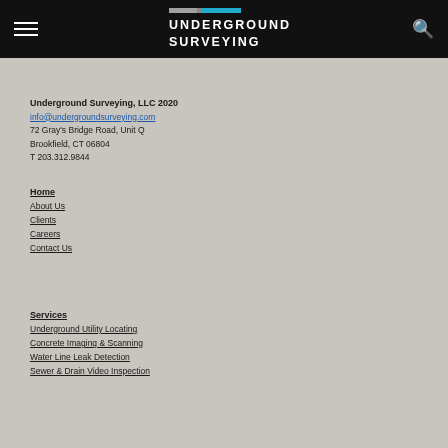Underground Surveying
Underground Surveying, LLC 2020
info@undergroundsurveying.com
72 Gray's Bridge Road, Unit Q
Brookfield, CT 06804
T 203.312.9844
Home
About Us
Clients
Careers
Contact Us
Services
Underground Utility Locating
Concrete Imaging & Scanning
Water Line Leak Detection
Sewer & Drain Video Inspection